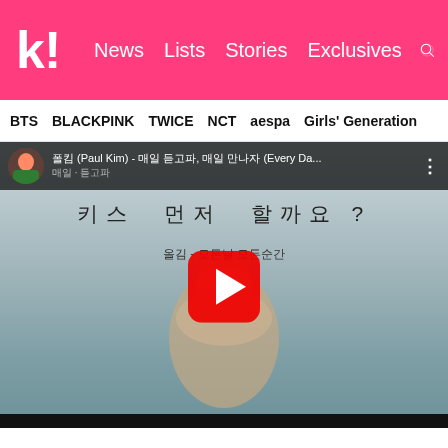k! News Lists Stories Exclusives
BTS BLACKPINK TWICE NCT aespa Girls' Generation
[Figure (screenshot): YouTube video thumbnail showing Paul Kim - Every Day (매일 듣고파) music video. Shows a person in winter clothing standing near a beach with a YouTube play button overlay. Top bar shows video title in Korean and English.]
I recommend this song because it's good to listen to while relaxing. Hope you have a restful holiday season!